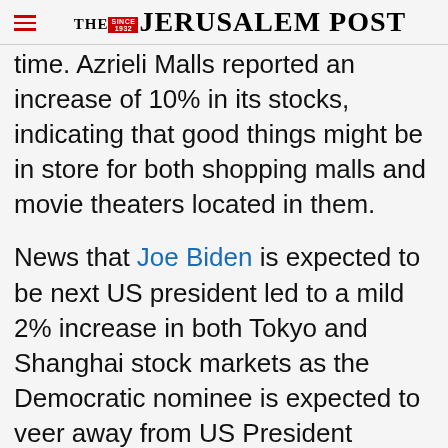THE JERUSALEM POST
time. Azrieli Malls reported an increase of 10% in its stocks, indicating that good things might be in store for both shopping malls and movie theaters located in them.
News that Joe Biden is expected to be next US president led to a mild 2% increase in both Tokyo and Shanghai stock markets as the Democratic nominee is expected to veer away from US President Donald Trump’s “cold trade war” with
Advertisement